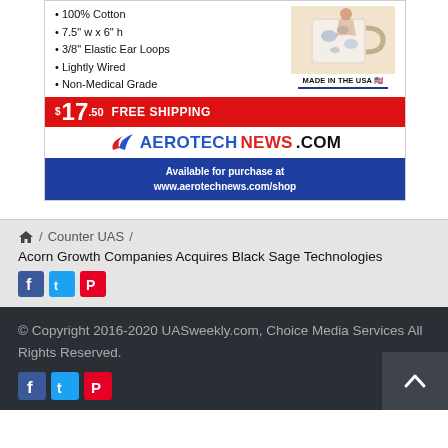[Figure (other): Advertisement for Aerotech News face masks: lists features (100% Cotton, 7.5" w x 6" h, 3/8" Elastic Ear Loops, Lightly Wired, Non-Medical Grade), price $17.50 FREE SHIPPING, AerotechNews.com logo, blue footer: Available for purchase at www.aerotechnews.com/shop]
100% Cotton
7.5" w x 6" h
3/8" Elastic Ear Loops
Lightly Wired
Non-Medical Grade
/ Counter UAS /
Acorn Growth Companies Acquires Black Sage Technologies
© Copyright 2016-2020 UASweekly.com, Choice Media Services All Rights Reserved.